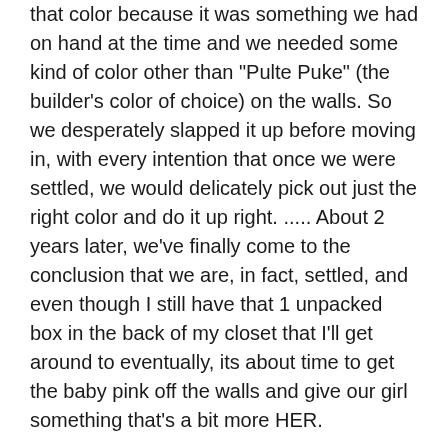that color because it was something we had on hand at the time and we needed some kind of color other than "Pulte Puke" (the builder's color of choice) on the walls. So we desperately slapped it up before moving in, with every intention that once we were settled, we would delicately pick out just the right color and do it up right. ..... About 2 years later, we've finally come to the conclusion that we are, in fact, settled, and even though I still have that 1 unpacked box in the back of my closet that I'll get around to eventually, its about time to get the baby pink off the walls and give our girl something that's a bit more HER.
When we started planning the room, we quickly decided, with her approval, that the pale colors of the actual Owl theme inspiration just weren't the right thing for a Girl -to-Tween room. Bright! Bold! That was the look we were going for. We drew out a floor plan of how the new